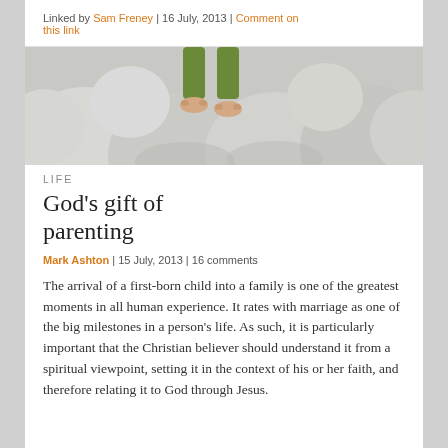Linked by Sam Freney | 16 July, 2013 | Comment on this link
[Figure (photo): Bare feet of a child standing on large round white pumpkins or gourds, wearing green trousers]
LIFE
God’s gift of parenting
Mark Ashton | 15 July, 2013 | 16 comments
The arrival of a first-born child into a family is one of the greatest moments in all human experience. It rates with marriage as one of the big milestones in a person’s life. As such, it is particularly important that the Christian believer should understand it from a spiritual viewpoint, setting it in the context of his or her faith, and therefore relating it to God through Jesus.